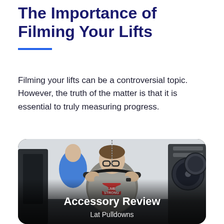The Importance of Filming Your Lifts
Filming your lifts can be a controversial topic. However, the truth of the matter is that it is essential to truly measuring progress.
[Figure (photo): A man wearing glasses and a grey 'Livestrong' shirt performing lat pulldowns at a gym. He is pulling down a cable attachment with both hands. Behind him is a person in a blue shirt and gym equipment including weight plates. At the bottom of the image, overlaid white bold text reads 'Accessory Review' with subtitle 'Lat Pulldowns'.]